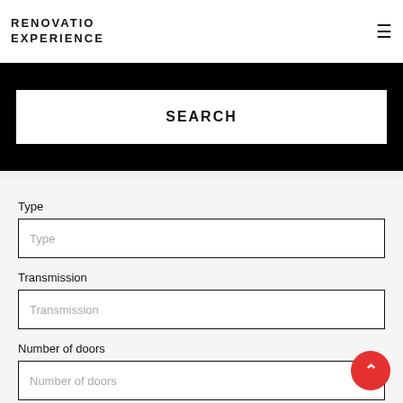RENOVATIO EXPERIENCE
SEARCH
Type
Type (placeholder)
Transmission
Transmission (placeholder)
Number of doors
Number of doors (placeholder)